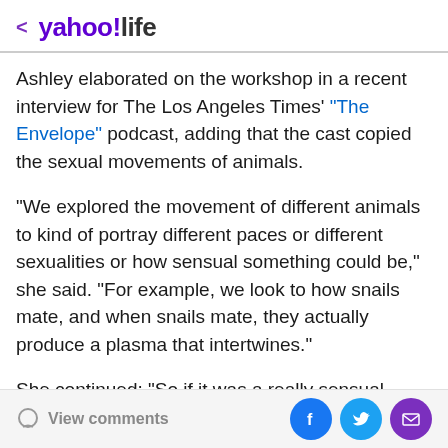< yahoo!life
Ashley elaborated on the workshop in a recent interview for The Los Angeles Times' "The Envelope" podcast, adding that the cast copied the sexual movements of animals.
"We explored the movement of different animals to kind of portray different paces or different sexualities or how sensual something could be," she said. "For example, we look to how snails mate, and when snails mate, they actually produce a plasma that intertwines."
She continued: "So if it was a really sensual, slow kind of scene, we'd be like, 'Oh, it's like the snail.' And it's super like the plasma, like falling like honey. So we would make
View comments